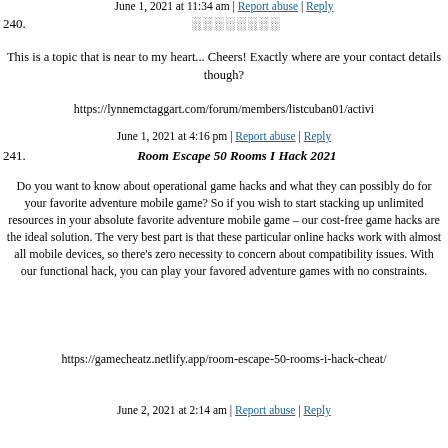June 1, 2021 at 11:34 am | Report abuse | Reply
240. ░░░░░░░░
This is a topic that is near to my heart... Cheers! Exactly where are your contact details though?
https://lynnemctaggart.com/forum/members/listcuban01/activi
June 1, 2021 at 4:16 pm | Report abuse | Reply
241. Room Escape 50 Rooms I Hack 2021
Do you want to know about operational game hacks and what they can possibly do for your favorite adventure mobile game? So if you wish to start stacking up unlimited resources in your absolute favorite adventure mobile game – our cost-free game hacks are the ideal solution. The very best part is that these particular online hacks work with almost all mobile devices, so there's zero necessity to concern about compatibility issues. With our functional hack, you can play your favored adventure games with no constraints.
https://gamecheatz.netlify.app/room-escape-50-rooms-i-hack-cheat/
June 2, 2021 at 2:14 am | Report abuse | Reply